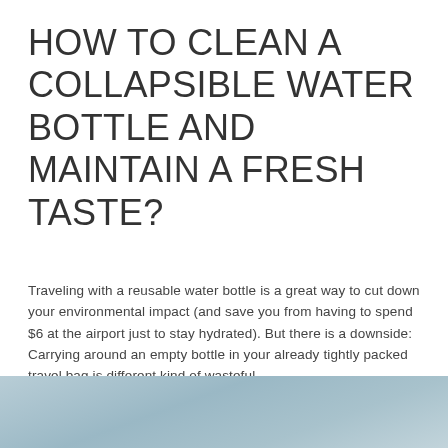HOW TO CLEAN A COLLAPSIBLE WATER BOTTLE AND MAINTAIN A FRESH TASTE?
Traveling with a reusable water bottle is a great way to cut down your environmental impact (and save you from having to spend $6 at the airport just to stay hydrated). But there is a downside: Carrying around an empty bottle in your already tightly packed travel bag is different kind of wasteful.
[Figure (photo): Blue-grey gradient background image, cropped at bottom of page, appearing to show a light blue-grey muted scene.]